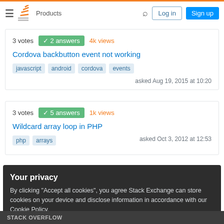Stack Overflow — Products | Log in | Sign up
3 votes  ✓ 2 answers  4k views
Cordova backbutton event not working
javascript  android  cordova  events
asked Aug 19, 2015 at 10:20
3 votes  ✓ 5 answers  1k views
Wildcard array loop in PHP
php  arrays
asked Oct 3, 2012 at 12:53
Your privacy
By clicking "Accept all cookies", you agree Stack Exchange can store cookies on your device and disclose information in accordance with our Cookie Policy.
Accept all cookies  Customize settings
STACK OVERFLOW